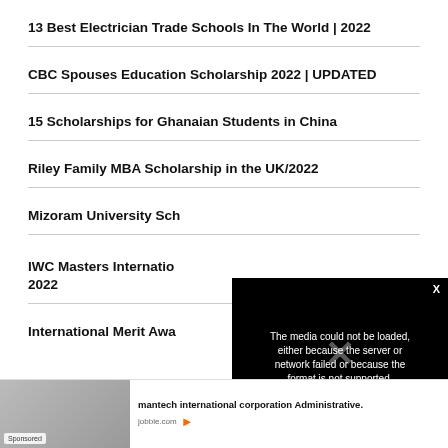13 Best Electrician Trade Schools In The World | 2022
CBC Spouses Education Scholarship 2022 | UPDATED
15 Scholarships for Ghanaian Students in China
Riley Family MBA Scholarship in the UK/2022
Mizoram University Sch...
IWC Masters Internatio... 2022
International Merit Awa...
[Figure (screenshot): Video error overlay with black background showing message: 'The media could not be loaded, either because the server or network failed or because the format is not supported.' with a large X mark symbol.]
[Figure (infographic): Sponsored ad banner at bottom: image of people with 'Sponsored' badge, text 'mantech international corporation Administrative.' with jobble.com source and play button icon.]